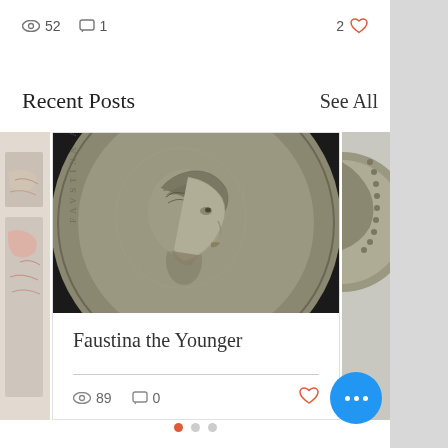52 views  1 comment  2 likes
Recent Posts
See All
[Figure (photo): Partial view of a coin or map image on the left side card]
[Figure (photo): Close-up photograph of a Roman coin showing profile portrait of Faustina the Younger, silver denarius, with beaded border and Latin inscription]
[Figure (photo): Partial view of another coin on the right side card]
Faustina the Younger
89 views  0 comments
• • •  (more options button)